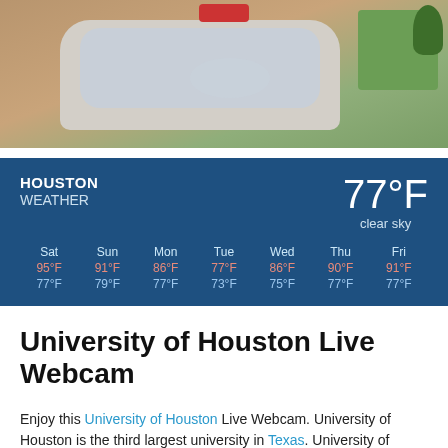[Figure (photo): Aerial webcam view of University of Houston fountain/pool area with surrounding walkways and grass]
[Figure (infographic): Houston Weather widget showing current temperature 77°F clear sky and 7-day forecast: Sat 95/77, Sun 91/79, Mon 86/77, Tue 77/73, Wed 86/75, Thu 90/77, Fri 91/77]
University of Houston Live Webcam
Enjoy this University of Houston Live Webcam. University of Houston is the third largest university in Texas. University of